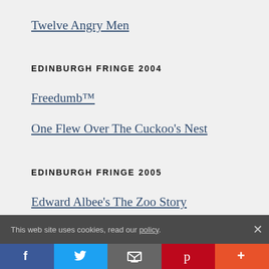Twelve Angry Men
EDINBURGH FRINGE 2004
Freedumb™
One Flew Over The Cuckoo's Nest
EDINBURGH FRINGE 2005
Edward Albee's The Zoo Story
Phil Nichol: Nearly Gay
This web site uses cookies, read our policy.